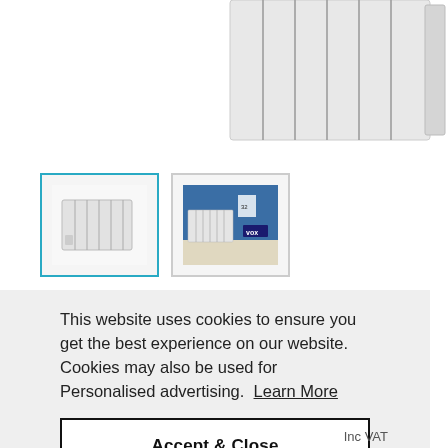[Figure (photo): Top portion of a white electric radiator product photo, cropped at top of page]
[Figure (photo): Two product thumbnail images: first active (cyan border) showing white radiator on white background, second showing radiator in room setting with blue wall]
This website uses cookies to ensure you get the best experience on our website. Cookies may also be used for Personalised advertising.  Learn More
Accept & Close
Inc VAT